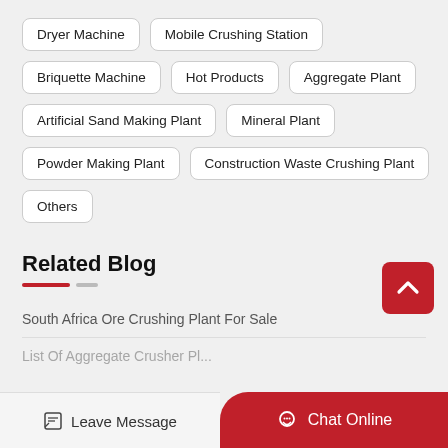Dryer Machine
Mobile Crushing Station
Briquette Machine
Hot Products
Aggregate Plant
Artificial Sand Making Plant
Mineral Plant
Powder Making Plant
Construction Waste Crushing Plant
Others
Related Blog
South Africa Ore Crushing Plant For Sale
List Of Aggregate Crusher Pl...
Leave Message
Chat Online